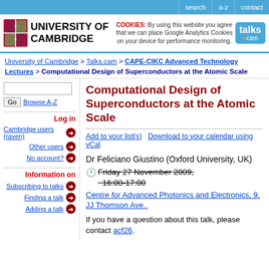search | a-z | contact
[Figure (logo): University of Cambridge shield logo and wordmark, with cookie notice and talks.cam logo]
University of Cambridge > Talks.cam > CAPE-CIKC Advanced Technology Lectures > Computational Design of Superconductors at the Atomic Scale
Computational Design of Superconductors at the Atomic Scale
Add to your list(s)    Download to your calendar using vCal
Dr Feliciano Giustino (Oxford University, UK)
Friday 27 November 2009, 16:00-17:00
Centre for Advanced Photonics and Electronics, 9, JJ Thomson Ave..
If you have a question about this talk, please contact acf26.
Log in
Cambridge users (raven)
Other users
No account?
Information on
Subscribing to talks
Finding a talk
Adding a talk